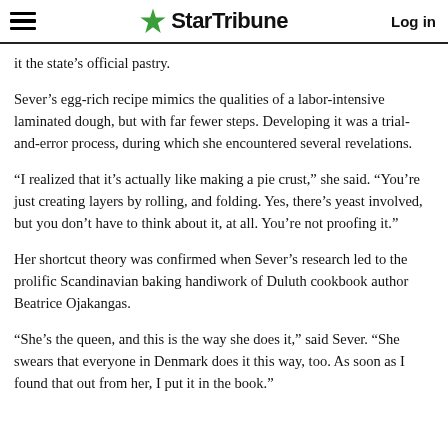StarTribune  Log in
it the state's official pastry.
Sever's egg-rich recipe mimics the qualities of a labor-intensive laminated dough, but with far fewer steps. Developing it was a trial-and-error process, during which she encountered several revelations.
“I realized that it’s actually like making a pie crust,” she said. “You’re just creating layers by rolling, and folding. Yes, there’s yeast involved, but you don’t have to think about it, at all. You’re not proofing it.”
Her shortcut theory was confirmed when Sever’s research led to the prolific Scandinavian baking handiwork of Duluth cookbook author Beatrice Ojakangas.
“She’s the queen, and this is the way she does it,” said Sever. “She swears that everyone in Denmark does it this way, too. As soon as I found that out from her, I put it in the book.”